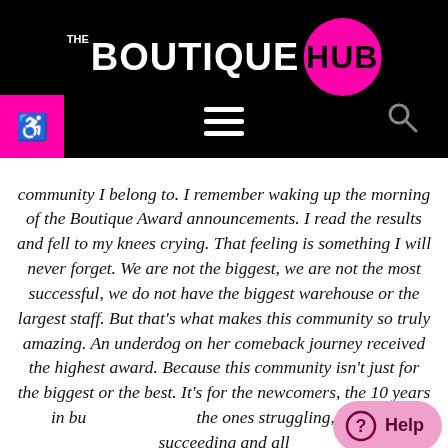THE BOUTIQUE HUB
community I belong to. I remember waking up the morning of the Boutique Award announcements. I read the results and fell to my knees crying. That feeling is something I will never forget. We are not the biggest, we are not the most successful, we do not have the biggest warehouse or the largest staff. But that’s what makes this community so truly amazing. An underdog on her comeback journey received the highest award. Because this community isn’t just for the biggest or the best. It’s for the newcomers, the 10 years in business, the ones struggling, the ones succeeding and all